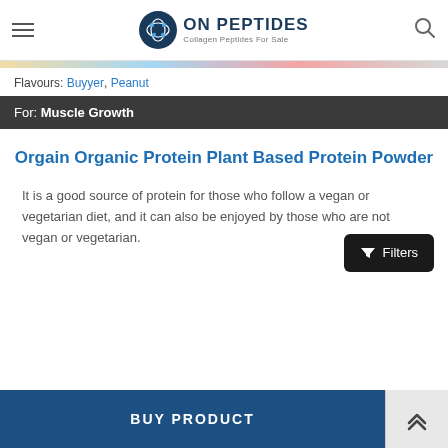ON PEPTIDES — Collagen Peptides For Sale
Flavours: Buyyer, Peanut
For: Muscle Growth
Orgain Organic Protein Plant Based Protein Powder
It is a good source of protein for those who follow a vegan or vegetarian diet, and it can also be enjoyed by those who are not vegan or vegetarian.
Filters
BUY PRODUCT